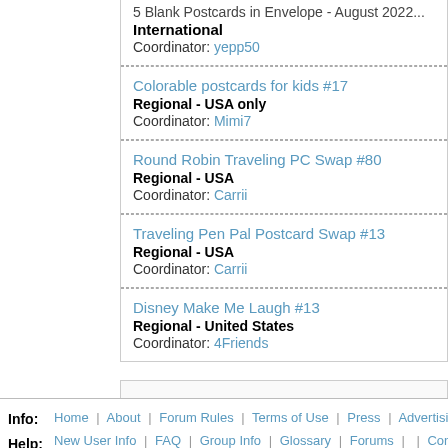5 Blank Postcards in Envelope - August 2022
International
Coordinator: yepp50
Colorable postcards for kids #17
Regional - USA only
Coordinator: Mimi7
Round Robin Traveling PC Swap #80
Regional - USA
Coordinator: Carrii
Traveling Pen Pal Postcard Swap #13
Regional - USA
Coordinator: Carrii
Disney Make Me Laugh #13
Regional - United States
Coordinator: 4Friends
243 swaps   1 / 13 pages
Info: Home | About | Forum Rules | Terms of Use | Press | Advertising
Help: New User Info | FAQ | Group Info | Glossary | Forums | | Contact